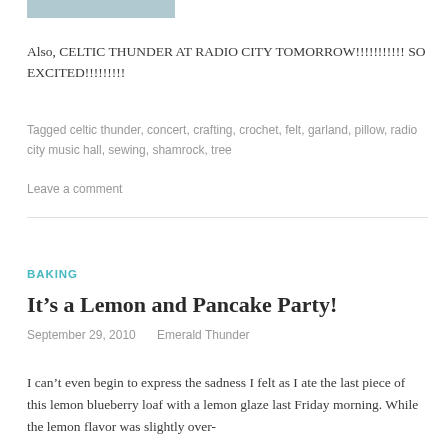[Figure (photo): Partial image visible at top of page, cropped photo]
Also, CELTIC THUNDER AT RADIO CITY TOMORROW!!!!!!!!!!! SO EXCITED!!!!!!!!!
Tagged celtic thunder, concert, crafting, crochet, felt, garland, pillow, radio city music hall, sewing, shamrock, tree
Leave a comment
BAKING
It’s a Lemon and Pancake Party!
September 29, 2010   Emerald Thunder
I can’t even begin to express the sadness I felt as I ate the last piece of this lemon blueberry loaf with a lemon glaze last Friday morning. While the lemon flavor was slightly over-